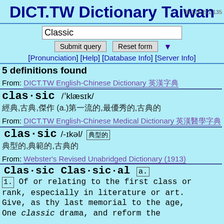DICT.TW Dictionary Taiwan
35.175.211.135
Classic
Submit query   Reset form   ▼
[Pronunciation] [Help] [Database Info] [Server Info]
5 definitions found
From: DICT.TW English-Chinese Dictionary 英漢字典
clas·sic /ˈklæsɪk/
經典,古典作品,傑作 (a.)第一流的,最優秀的,古典的
From: DICT.TW English-Chinese Medical Dictionary 英漢醫學字典
clas·sic /-ɪkəl/ 典型的
典型的,典範的,古典的
From: Webster's Revised Unabridged Dictionary (1913)
Clas·sic Clas·sic·al [a.]
1. Of or relating to the first class or rank, especially in literature or art. Give, as thy last memorial to the age, One classic drama, and reform the